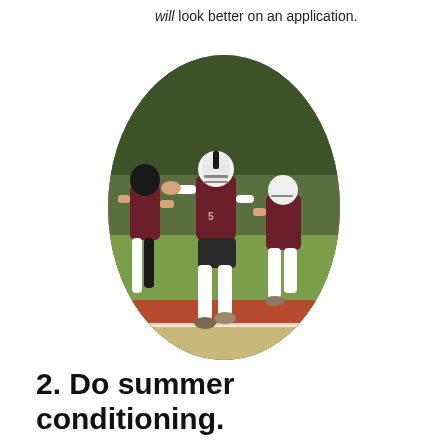will look better on an application.
[Figure (photo): Football players in maroon and white uniforms practicing drills on a field, shown in an oval-cropped photo. A player in a white helmet is in an athletic stance in the foreground.]
2. Do summer conditioning.